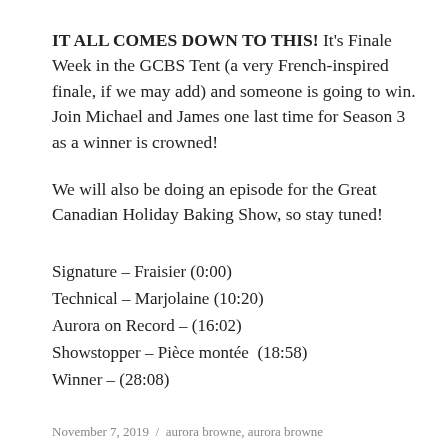IT ALL COMES DOWN TO THIS! It's Finale Week in the GCBS Tent (a very French-inspired finale, if we may add) and someone is going to win. Join Michael and James one last time for Season 3 as a winner is crowned!
We will also be doing an episode for the Great Canadian Holiday Baking Show, so stay tuned!
Signature – Fraisier (0:00)
Technical – Marjolaine (10:20)
Aurora on Record – (16:02)
Showstopper – Pièce montée  (18:58)
Winner – (28:08)
November 7, 2019  /  aurora browne, aurora browne